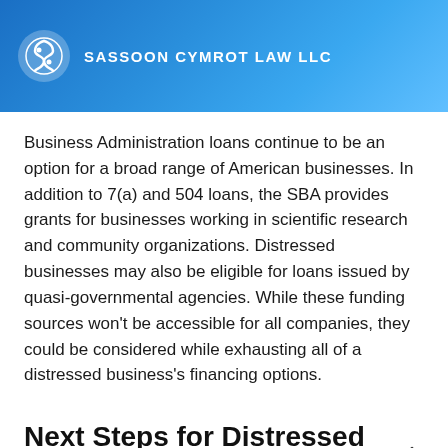SASSOON CYMROT LAW LLC
Business Administration loans continue to be an option for a broad range of American businesses. In addition to 7(a) and 504 loans, the SBA provides grants for businesses working in scientific research and community organizations. Distressed businesses may also be eligible for loans issued by quasi-governmental agencies. While these funding sources won't be accessible for all companies, they could be considered while exhausting all of a distressed business's financing options.
Next Steps for Distressed Business Financing